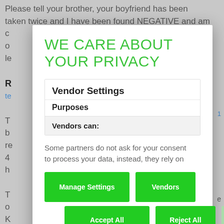Please tell your brother, your boyfriend has been taken twice and I have been found NEGATIVE and am c... o... le...
R... te...
T... b... re... 4... h...
T... o... K...
WE CARE ABOUT YOUR PRIVACY
Vendor Settings
Purposes
Vendors can:
Some partners do not ask for your consent to process your data, instead, they rely on
Manage Settings
Vendors
Accept All
Reject All
Save & Exit